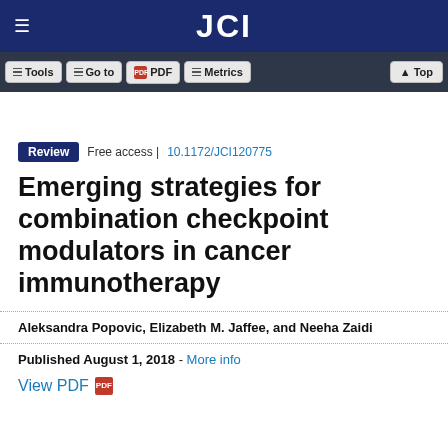JCI
Tools | Go to | PDF | Metrics | Top
Review  Free access | 10.1172/JCI120775
Emerging strategies for combination checkpoint modulators in cancer immunotherapy
Aleksandra Popovic, Elizabeth M. Jaffee, and Neeha Zaidi
Published August 1, 2018 - More info
View PDF